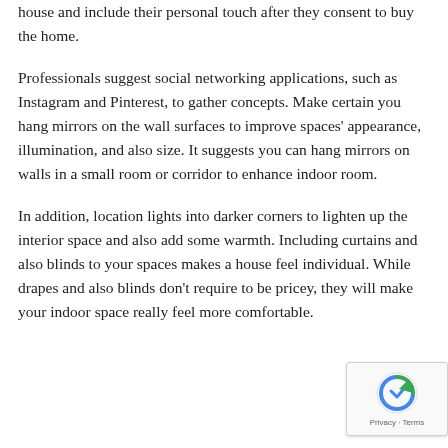house and include their personal touch after they consent to buy the home.
Professionals suggest social networking applications, such as Instagram and Pinterest, to gather concepts. Make certain you hang mirrors on the wall surfaces to improve spaces' appearance, illumination, and also size. It suggests you can hang mirrors on walls in a small room or corridor to enhance indoor room.
In addition, location lights into darker corners to lighten up the interior space and also add some warmth. Including curtains and also blinds to your spaces makes a house feel individual. While drapes and also blinds don't require to be pricey, they will make your indoor space really feel more comfortable.